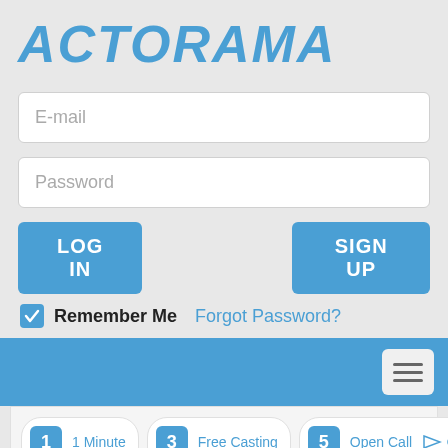ACTORAMA
E-mail
Password
LOG IN
SIGN UP
Remember Me
Forgot Password?
[Figure (screenshot): Blue navigation bar with hamburger menu button]
[Figure (screenshot): App card grid showing numbered category tiles: 1 1 Minute, 2 Sad, 3 Free Casting, 4 Acting, 5 Open Call, 6 1 Minute]